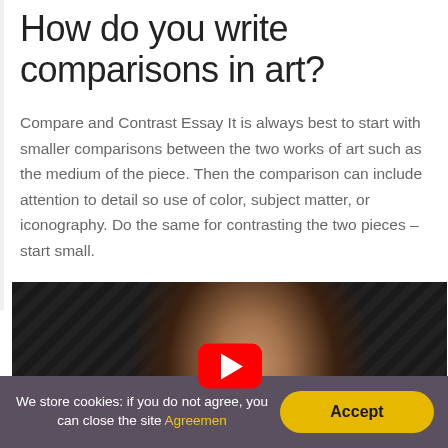How do you write comparisons in art?
Compare and Contrast Essay It is always best to start with smaller comparisons between the two works of art such as the medium of the piece. Then the comparison can include attention to detail so use of color, subject matter, or iconography. Do the same for contrasting the two pieces – start small.
[Figure (screenshot): YouTube video thumbnail showing a woman smiling, with a red YouTube play button overlay in the center. Dark textured background.]
We store cookies: if you do not agree, you can close the site Agreemen